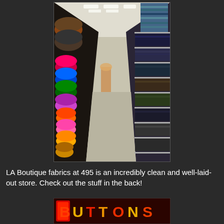[Figure (photo): Interior of LA Boutique fabrics store showing a long aisle with colorful fabric rolls stacked on the left side and shelves with folded fabrics on the right side, well-lit store with white ceiling and light floor.]
LA Boutique fabrics at 495 is an incredibly clean and well-laid-out store.  Check out the stuff in the back!
[Figure (photo): Partial view of a brightly lit sign with red, yellow, and orange illuminated letters, partially cut off at the bottom of the page.]